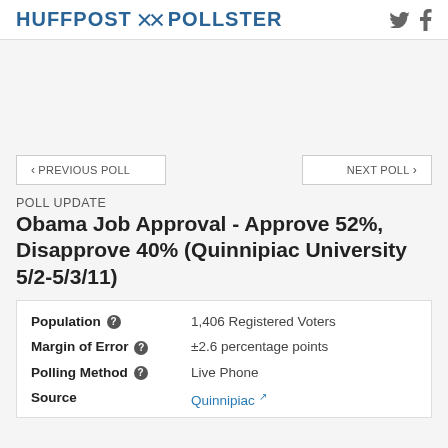HUFFPOST POLLSTER
< PREVIOUS POLL    NEXT POLL >
POLL UPDATE
Obama Job Approval - Approve 52%, Disapprove 40% (Quinnipiac University 5/2-5/3/11)
| Field | Value |
| --- | --- |
| Population | 1,406 Registered Voters |
| Margin of Error | ±2.6 percentage points |
| Polling Method | Live Phone |
| Source | Quinnipiac |